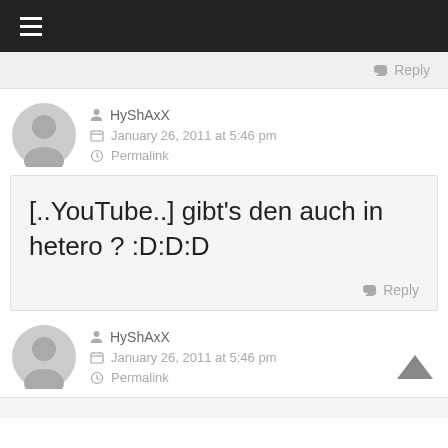≡ (hamburger menu)
Reply
HyShAxX
January 26, 2011 at 5:46 pm
Permalink
[..YouTube..] gibt's den auch in hetero ? :D:D:D
Reply
HyShAxX
January 26, 2011 at 5:46 pm
Permalink